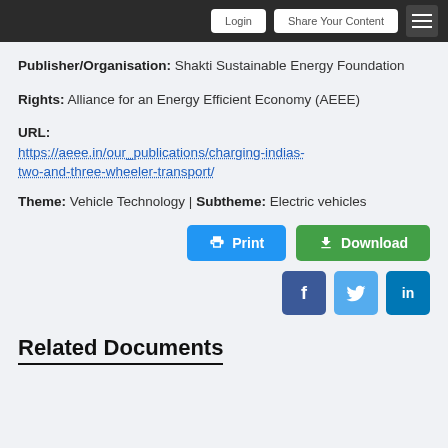Login | Share Your Content | [menu]
Publisher/Organisation: Shakti Sustainable Energy Foundation
Rights: Alliance for an Energy Efficient Economy (AEEE)
URL: https://aeee.in/our_publications/charging-indias-two-and-three-wheeler-transport/
Theme: Vehicle Technology | Subtheme: Electric vehicles
Related Documents